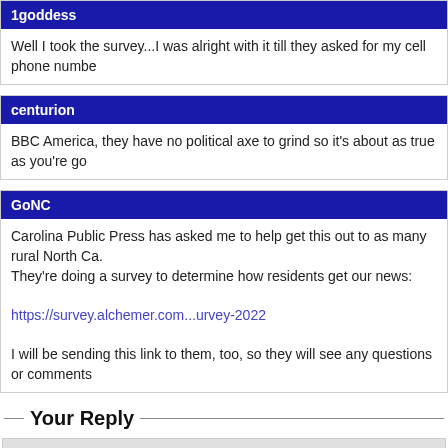1goddess
Well I took the survey...I was alright with it till they asked for my cell phone numbe
centurion
BBC America, they have no political axe to grind so it's about as true as you're go
GoNC
Carolina Public Press has asked me to help get this out to as many rural North Ca. They're doing a survey to determine how residents get our news:
https://survey.alchemer.com...urvey-2022
I will be sending this link to them, too, so they will see any questions or comments
Your Reply
Your Username: [input field]
Your Password: [input field]